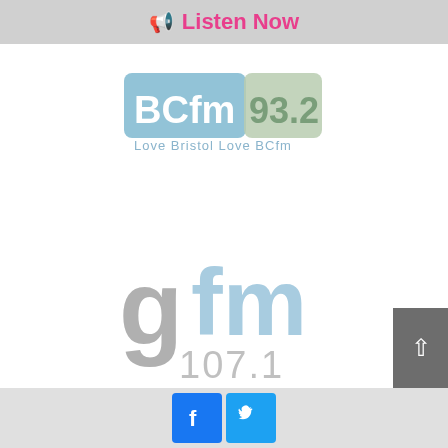Listen Now
[Figure (logo): BCfm 93.2 radio station logo with tagline Love Bristol Love BCfm]
[Figure (logo): gfm 107.1 radio station logo]
Facebook and Twitter social media icons